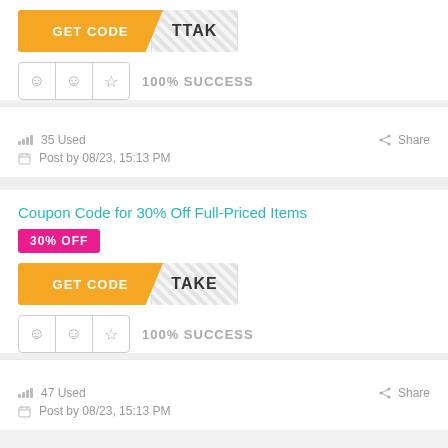[Figure (other): GET CODE button with orange left section and hatched right section showing partial code 'TTAK']
[Figure (other): Rating widget with three boxes: happy face, neutral face, star icon]
100% SUCCESS
35 Used
Share
Post by 08/23, 15:13 PM
Coupon Code for 30% Off Full-Priced Items
30% OFF
[Figure (other): GET CODE button with orange left section and hatched right section showing partial code 'TAKE']
[Figure (other): Rating widget with three boxes: happy face, neutral face, star icon]
100% SUCCESS
47 Used
Share
Post by 08/23, 15:13 PM